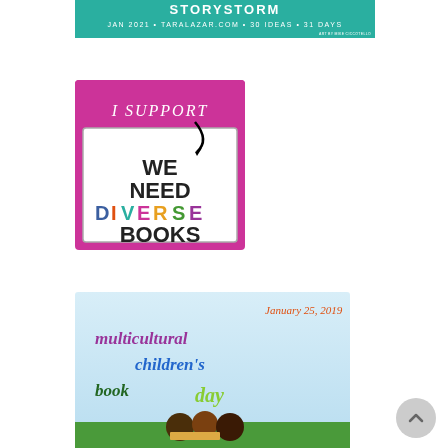[Figure (illustration): Teal/green banner for 'Storystorm' event: JAN 2021 • TARALAZAR.COM • 30 IDEAS • 31 DAYS, Art by Mike Ciccotello]
[Figure (logo): Pink square badge with text: I SUPPORT WE NEED DIVERSE BOOKS, with colorful letters for DIVERSE and arrow]
[Figure (illustration): Multicultural Children's Book Day banner: January 25, 2019, with colorful text 'multicultural children's book day' and illustration of children reading]